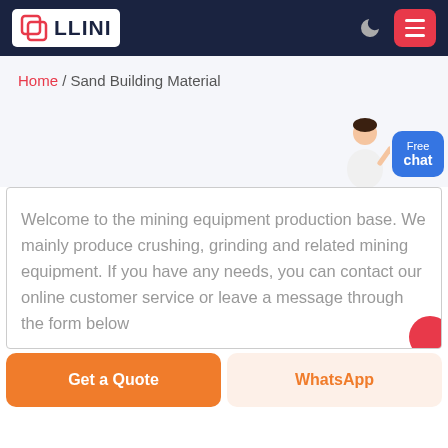LLINI
Home / Sand Building Material
Welcome to the mining equipment production base. We mainly produce crushing, grinding and related mining equipment. If you have any needs, you can contact our online customer service or leave a message through the form below.
Get a Quote
WhatsApp